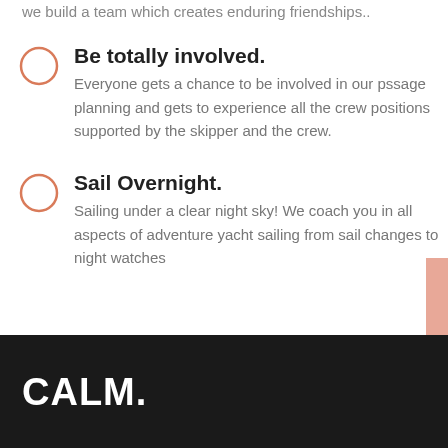we build a team which creates enduring friendships..
Be totally involved. Everyone gets a chance to be involved in our pssage planning and gets to experience all the crew positions supported by the skipper and the crew.
Sail Overnight. Sailing under a clear night sky!  We coach you in all aspects of adventure yacht sailing from sail changes to night watches
CALM.